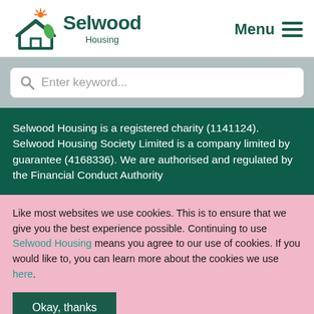[Figure (logo): Selwood Housing logo with house icon, sun, and leaf]
Menu ≡
Enter keyword...
Selwood Housing is a registered charity (1141124). Selwood Housing Society Limited is a company limited by guarantee (4168336). We are authorised and regulated by the Financial Conduct Authority
Like most websites we use cookies. This is to ensure that we give you the best experience possible. Continuing to use Selwood Housing means you agree to our use of cookies. If you would like to, you can learn more about the cookies we use here.
Okay, thanks